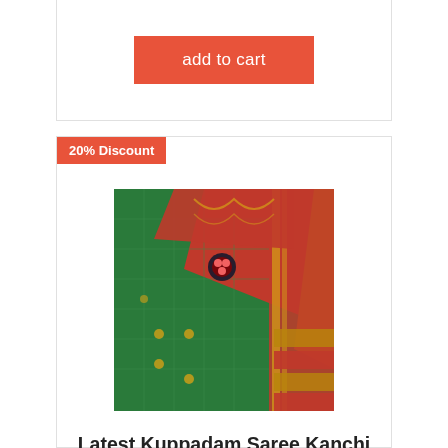add to cart
20% Discount
[Figure (photo): A folded green and red Kuppadam saree with gold Kanchi border details]
Latest Kuppadam Saree Kanchi Border
₹ 5,360.00 ₹ 6,700.00